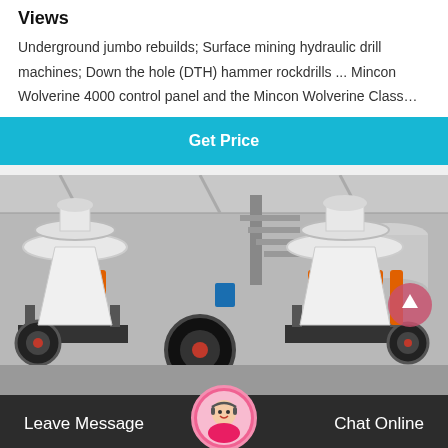Views
Underground jumbo rebuilds; Surface mining hydraulic drill machines; Down the hole (DTH) hammer rockdrills ... Mincon Wolverine 4000 control panel and the Mincon Wolverine Class…
Get Price
[Figure (photo): Photo of large industrial cone crusher machines in a factory/warehouse setting. Multiple white and orange hydraulic cone crushers on platforms with metal frames, industrial building interior visible in background.]
Leave Message
Chat Online